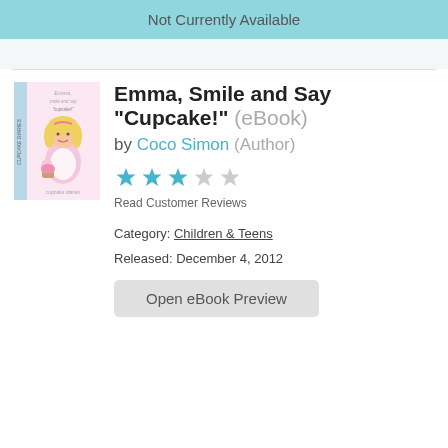Not Currently Available
[Figure (illustration): Book cover for 'Emma, Smile and Say Cupcake!' from the Cupcake Diaries series, showing a cartoon girl with blonde hair holding baking items]
Emma, Smile and Say "Cupcake!" (eBook)
by Coco Simon (Author)
[Figure (other): 3 out of 5 star rating shown as blue filled stars and gray empty stars]
Read Customer Reviews
Category: Children & Teens
Released: December 4, 2012
Open eBook Preview